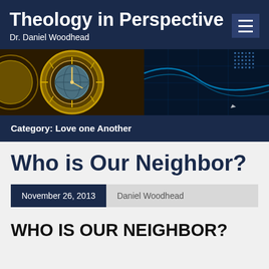Theology in Perspective
Dr. Daniel Woodhead
[Figure (photo): Banner image showing astronomical clock/compass on left side and abstract digital blue background on right side]
Category: Love one Another
Who is Our Neighbor?
November 26, 2013   Daniel Woodhead
WHO IS OUR NEIGHBOR?